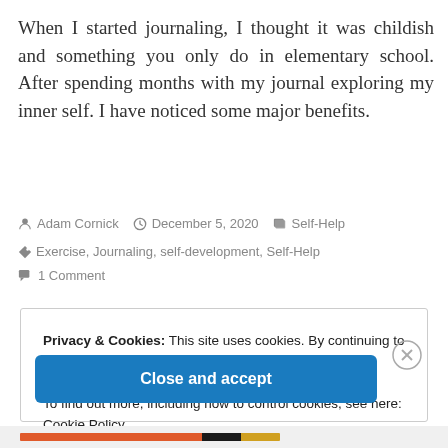When I started journaling, I thought it was childish and something you only do in elementary school. After spending months with my journal exploring my inner self. I have noticed some major benefits.
Adam Cornick  December 5, 2020  Self-Help
Exercise, Journaling, self-development, Self-Help
1 Comment
Privacy & Cookies: This site uses cookies. By continuing to use this website, you agree to their use.
To find out more, including how to control cookies, see here: Cookie Policy

Close and accept